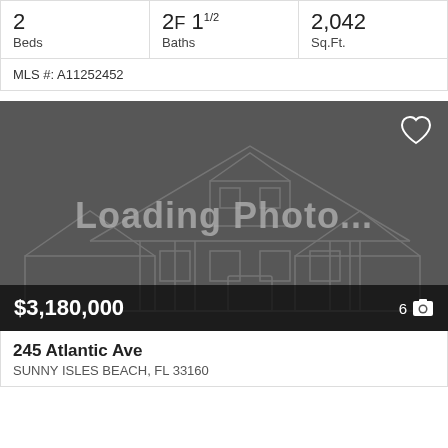| Beds | Baths | Sq.Ft. |
| --- | --- | --- |
| 2 | 2F 1½ | 2,042 |
MLS #: A11252452
[Figure (photo): Loading Photo... placeholder image of a house outline on dark gray background, showing price $3,180,000 and 6 photos]
245 Atlantic Ave
SUNNY ISLES BEACH, FL 33160